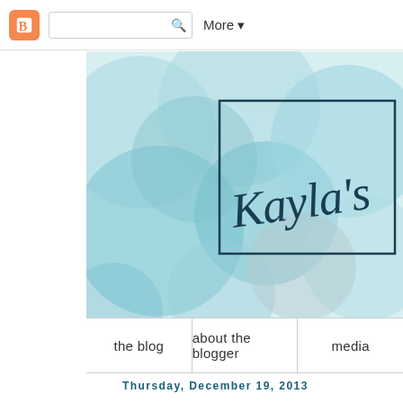Blogger navigation bar with search and More button
[Figure (illustration): Blog header banner with teal/aqua overlapping circles pattern and 'Kayla's' in dark script font inside a dark-bordered rectangle on right side]
the blog   about the blogger   media
Thursday, December 19, 2013
Helpless but Helped
I've never truly needed too much help while...